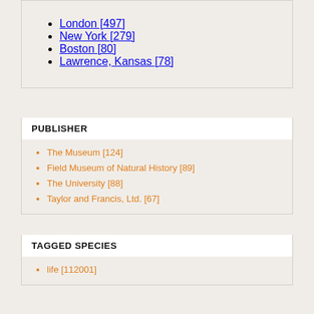London [497]
New York [279]
Boston [80]
Lawrence, Kansas [78]
PUBLISHER
The Museum [124]
Field Museum of Natural History [89]
The University [88]
Taylor and Francis, Ltd. [67]
TAGGED SPECIES
life [112001]